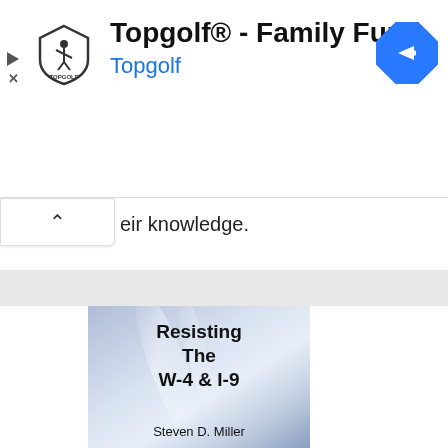[Figure (screenshot): Topgolf advertisement banner with Topgolf shield logo, title 'Topgolf® - Family Fun', subtitle 'Topgolf' in blue, and a blue navigation/directions icon on the right]
eir knowledge.
[Figure (illustration): Book cover for 'Resisting The W-4 & I-9' by Steven D. Miller, with a blue/silver gradient background and bold black text]